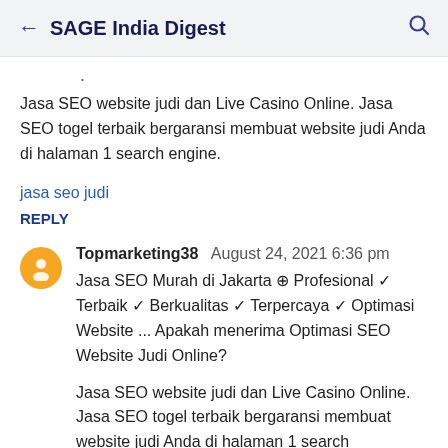← SAGE India Digest 🔍
Jasa SEO website judi dan Live Casino Online. Jasa SEO togel terbaik bergaransi membuat website judi Anda di halaman 1 search engine.
jasa seo judi
REPLY
Topmarketing38  August 24, 2021 6:36 pm
Jasa SEO Murah di Jakarta ⊕ Profesional ✓ Terbaik ✓ Berkualitas ✓ Terpercaya ✓ Optimasi Website ... Apakah menerima Optimasi SEO Website Judi Online?
Jasa SEO website judi dan Live Casino Online. Jasa SEO togel terbaik bergaransi membuat website judi Anda di halaman 1 search